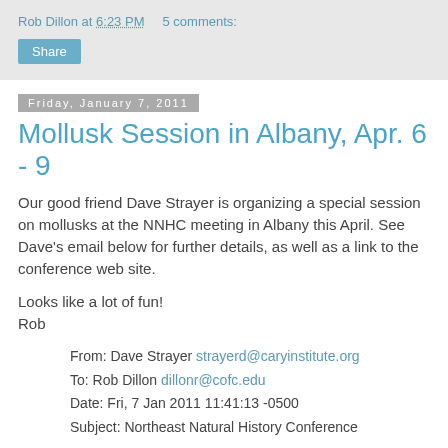Rob Dillon at 6:23 PM   5 comments:
Share
Friday, January 7, 2011
Mollusk Session in Albany, Apr. 6 - 9
Our good friend Dave Strayer is organizing a special session on mollusks at the NNHC meeting in Albany this April. See Dave's email below for further details, as well as a link to the conference web site.
Looks like a lot of fun!
Rob
From: Dave Strayer strayerd@caryinstitute.org
To: Rob Dillon dillonr@cofc.edu
Date: Fri, 7 Jan 2011 11:41:13 -0500
Subject: Northeast Natural History Conference